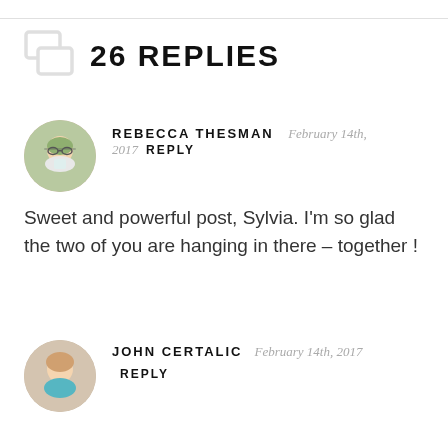26 REPLIES
REBECCA THESMAN   February 14th, 2017   REPLY
Sweet and powerful post, Sylvia. I'm so glad the two of you are hanging in there – together !
JOHN CERTALIC   February 14th, 2017   REPLY